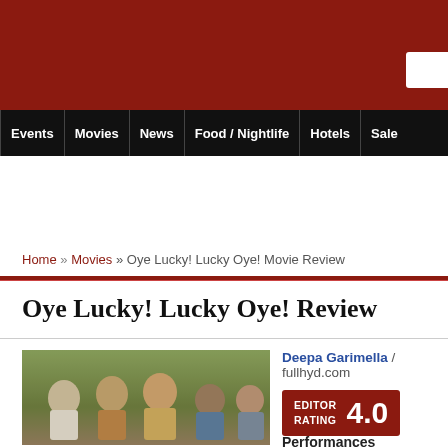Events | Movies | News | Food / Nightlife | Hotels | Sale
Home » Movies » Oye Lucky! Lucky Oye! Movie Review
Oye Lucky! Lucky Oye! Review
[Figure (photo): Movie still from Oye Lucky! Lucky Oye! showing a group of men outdoors]
Deepa Garimella / fullhyd.com
EDITOR RATING 4.0
Performances